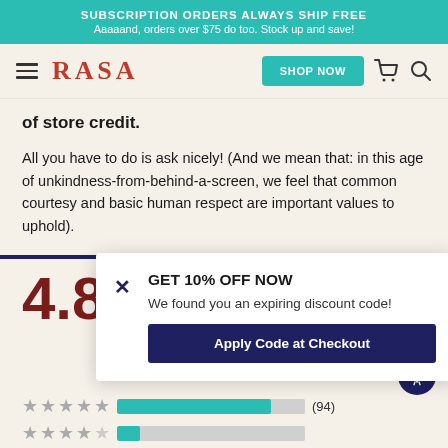SUBSCRIPTION ORDERS ALWAYS SHIP FREE
Aaaaand, orders over $75 do too. Stock up and save!
[Figure (screenshot): RASA website navigation bar with hamburger menu, RASA logo in red, SHOP NOW button in teal, cart icon, and search icon]
of store credit.
All you have to do is ask nicely! (And we mean that: in this age of unkindness-from-behind-a-screen, we feel that common courtesy and basic human respect are important values to uphold).
[Figure (screenshot): GET 10% OFF NOW popup with text 'We found you an expiring discount code!' and 'Apply Code at Checkout' button in navy blue]
4.8
(94)
(11)